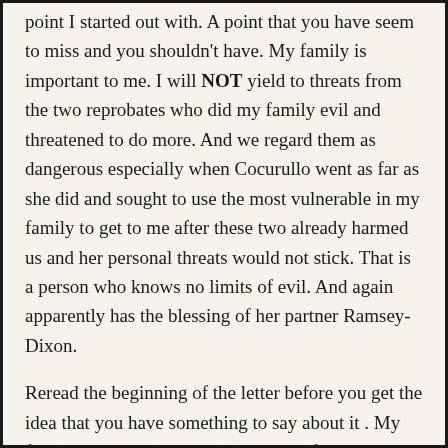point I started out with. A point that you have seem to miss and you shouldn't have. My family is important to me. I will NOT yield to threats from the two reprobates who did my family evil and threatened to do more. And we regard them as dangerous especially when Cocurullo went as far as she did and sought to use the most vulnerable in my family to get to me after these two already harmed us and her personal threats would not stick. That is a person who knows no limits of evil. And again apparently has the blessing of her partner Ramsey-Dixon.
Reread the beginning of the letter before you get the idea that you have something to say about it . My family matters. They are NOT a sacrifice at the modern alter of Baal within any church for cult li...